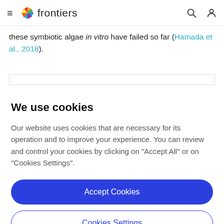frontiers
these symbiotic algae in vitro have failed so far (Hamada et al., 2018).
We use cookies
Our website uses cookies that are necessary for its operation and to improve your experience. You can review and control your cookies by clicking on "Accept All" or on "Cookies Settings".
Accept Cookies
Cookies Settings